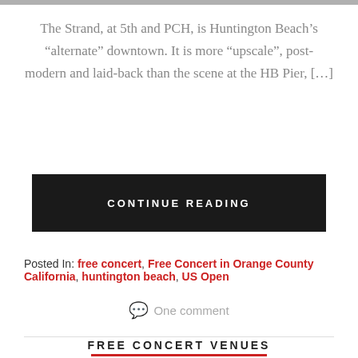[Figure (photo): Top image bar (cropped photo strip at very top of page)]
The Strand, at 5th and PCH, is Huntington Beach's “alternate” downtown. It is more “upscale”, post-modern and laid-back than the scene at the HB Pier, […]
CONTINUE READING
Posted In: free concert, Free Concert in Orange County California, huntington beach, US Open
One comment
FREE CONCERT VENUES